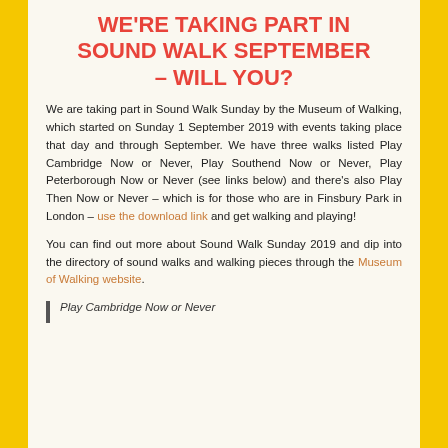WE'RE TAKING PART IN SOUND WALK SEPTEMBER – WILL YOU?
We are taking part in Sound Walk Sunday by the Museum of Walking, which started on Sunday 1 September 2019 with events taking place that day and through September. We have three walks listed Play Cambridge Now or Never, Play Southend Now or Never, Play Peterborough Now or Never (see links below) and there’s also Play Then Now or Never – which is for those who are in Finsbury Park in London – use the download link and get walking and playing!
You can find out more about Sound Walk Sunday 2019 and dip into the directory of sound walks and walking pieces through the Museum of Walking website.
Play Cambridge Now or Never